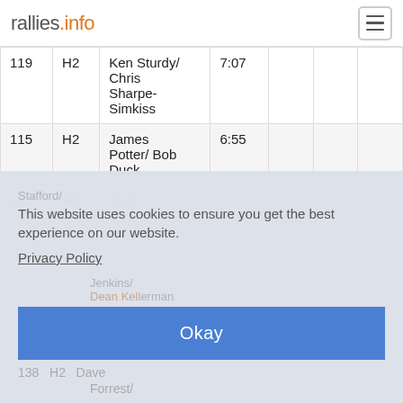rallies.info
|  |  | Name | Time |  |  |  |
| --- | --- | --- | --- | --- | --- | --- |
| 119 | H2 | Ken Sturdy/ Chris Sharpe-Simkiss | 7:07 |  |  |  |
| 115 | H2 | James Potter/ Bob Duck | 6:55 |  |  |  |
| 161 | H2 | Carl Stafford/ ... |  |  |  |  |
|  |  | Jenkins/ Dean Kellerman |  |  |  |  |
| 138 | H2 | Dave Forrest/ |  |  |  |  |
This website uses cookies to ensure you get the best experience on our website.
Privacy Policy
Okay